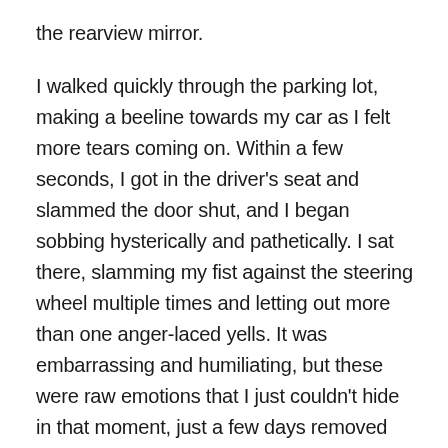the rearview mirror.
I walked quickly through the parking lot, making a beeline towards my car as I felt more tears coming on. Within a few seconds, I got in the driver's seat and slammed the door shut, and I began sobbing hysterically and pathetically. I sat there, slamming my fist against the steering wheel multiple times and letting out more than one anger-laced yells. It was embarrassing and humiliating, but these were raw emotions that I just couldn't hide in that moment, just a few days removed from my Father's tragic death. I was furious. I was deeply saddened.